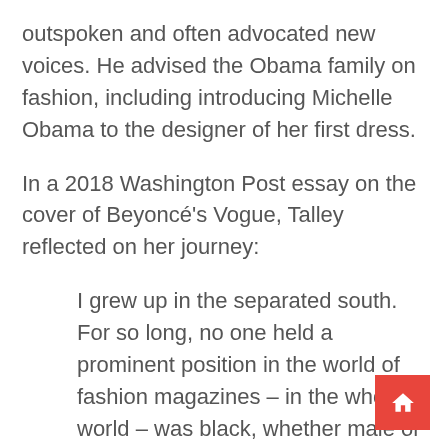outspoken and often advocated new voices. He advised the Obama family on fashion, including introducing Michelle Obama to the designer of her first dress.
In a 2018 Washington Post essay on the cover of Beyoncé's Vogue, Talley reflected on her journey:
I grew up in the separated south. For so long, no one held a prominent position in the world of fashion magazines – in the whole world – was black, whether male or female. But in 1988, Anna Wintour started as Vogue's editor – in – chief, and when she hired me, even though I did not think much about it at the time, I also wrote history: I became the first African-American man to be appointed creative direct… one of the leading fashion magazines in the world.